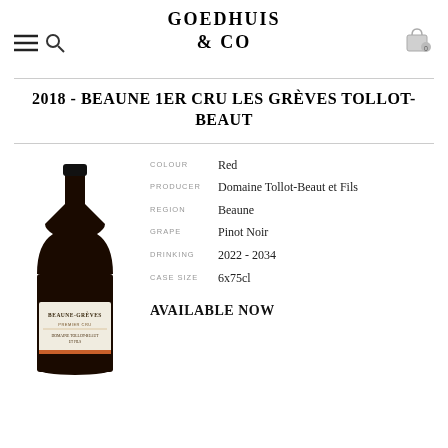GOEDHUIS & CO
2018 - BEAUNE 1ER CRU LES GRÈVES TOLLOT-BEAUT
[Figure (photo): Dark wine bottle with label reading BEAUNE-GRÈVES PREMIER CRU, Domaine Tollot-Beaut et Fils]
| COLOUR | Red |
| PRODUCER | Domaine Tollot-Beaut et Fils |
| REGION | Beaune |
| GRAPE | Pinot Noir |
| DRINKING | 2022 - 2034 |
| CASE SIZE | 6x75cl |
AVAILABLE NOW